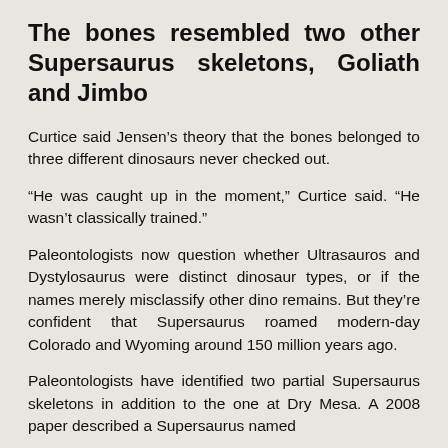The bones resembled two other Supersaurus skeletons, Goliath and Jimbo
Curtice said Jensen’s theory that the bones belonged to three different dinosaurs never checked out.
“He was caught up in the moment,” Curtice said. “He wasn’t classically trained.”
Paleontologists now question whether Ultrasauros and Dystylosaurus were distinct dinosaur types, or if the names merely misclassify other dino remains. But they’re confident that Supersaurus roamed modern-day Colorado and Wyoming around 150 million years ago.
Paleontologists have identified two partial Supersaurus skeletons in addition to the one at Dry Mesa. A 2008 paper described a Supersaurus named